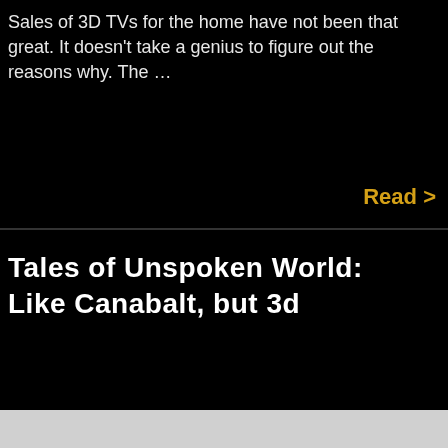Sales of 3D TVs for the home have not been that great. It doesn't take a genius to figure out the reasons why. The …
Read >
Tales of Unspoken World: Like Canabalt, but 3d